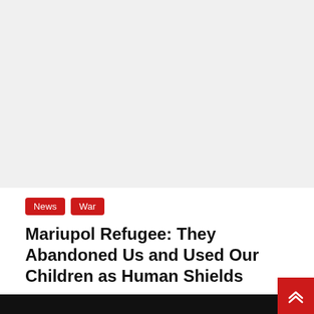[Figure (photo): Large image placeholder area at top of article page — appears as light grey/white empty space where a photo would be displayed]
News
War
Mariupol Refugee: They Abandoned Us and Used Our Children as Human Shields
March 25, 2022
A woman in the southeastern Ukrainian city of Mariupol has been sharing her harrowing experiences…